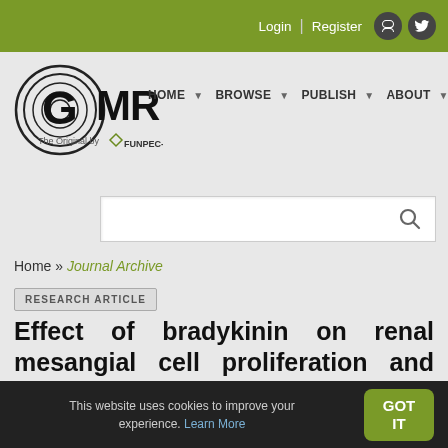Login | Register
[Figure (logo): GMR Genetics and Molecular Research logo by FUNPEC-RP with navigation links: HOME, BROWSE, PUBLISH, ABOUT, CONTACT]
Home » Journal Archive
RESEARCH ARTICLE
Effect of bradykinin on renal mesangial cell proliferation and extracellular matrix secretion
This website uses cookies to improve your experience. Learn More  GOT IT